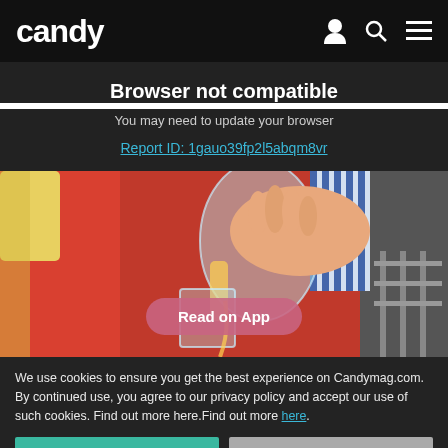candy
Browser not compatible
You may need to update your browser
Report ID: 1gauo39fp2l5abqm8vr
[Figure (photo): Person in red jacket pouring liquid from a glass pitcher into a glass, outdoors. A pink rounded button labeled 'Read on App' overlays the image.]
We use cookies to ensure you get the best experience on Candymag.com. By continued use, you agree to our privacy policy and accept our use of such cookies. Find out more here.Find out more here.
I AGREE
I DISAGREE